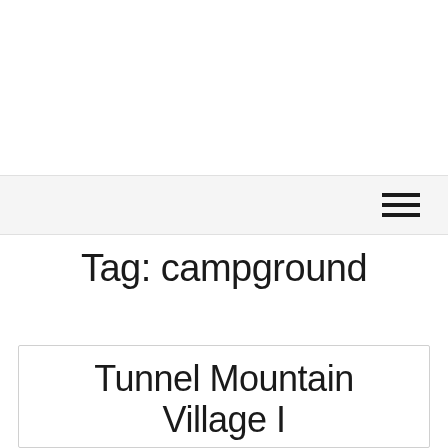Tag: campground
Tunnel Mountain Village I